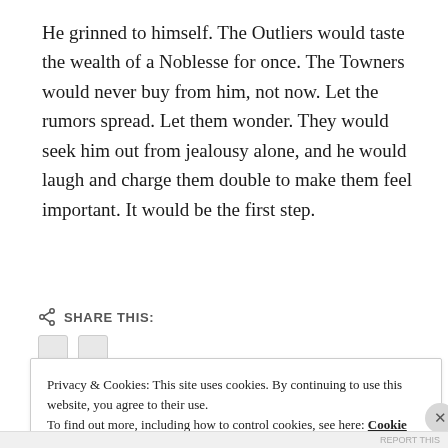He grinned to himself. The Outliers would taste the wealth of a Noblesse for once. The Towners would never buy from him, not now. Let the rumors spread. Let them wonder. They would seek him out from jealousy alone, and he would laugh and charge them double to make them feel important. It would be the first step.
SHARE THIS:
Privacy & Cookies: This site uses cookies. By continuing to use this website, you agree to their use.
To find out more, including how to control cookies, see here: Cookie Policy